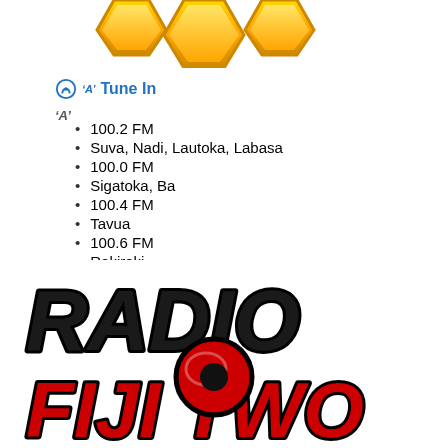[Figure (logo): Partial gold hexagon logo at top of page]
🎧 (A) Tune In
[Figure (infographic): Radio antenna/headphone icon with (A) symbol]
100.2 FM
Suva, Nadi, Lautoka, Labasa
100.0 FM
Sigatoka, Ba
100.4 FM
Tavua
100.6 FM
Rakiraki
🎧 Live
[Figure (logo): Radio Fiji Two logo in black and red bold lettering]